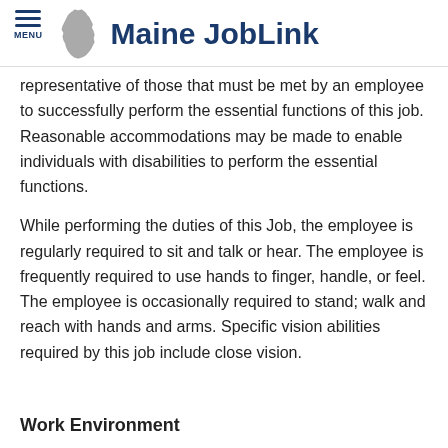Maine JobLink
representative of those that must be met by an employee to successfully perform the essential functions of this job. Reasonable accommodations may be made to enable individuals with disabilities to perform the essential functions.
While performing the duties of this Job, the employee is regularly required to sit and talk or hear. The employee is frequently required to use hands to finger, handle, or feel. The employee is occasionally required to stand; walk and reach with hands and arms. Specific vision abilities required by this job include close vision.
Work Environment